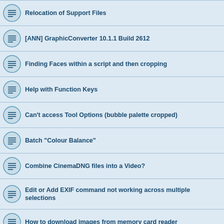Relocation of Support Files
[ANN] GraphicConverter 10.1.1 Build 2612
Finding Faces within a script and then cropping
Help with Function Keys
Can't access Tool Options (bubble palette cropped)
Batch "Colour Balance"
Combine CinemaDNG files into a Video?
Edit or Add EXIF command not working across multiple selections
How to download images from memory card reader
Browser Update
Opening old MacDraw files